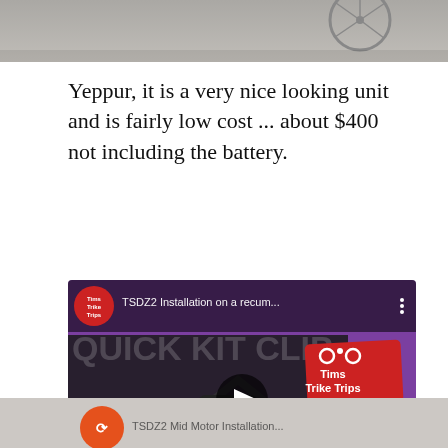[Figure (photo): Partial photo of a bicycle wheel on a gray surface, top portion cropped]
Yeppur, it is a very nice looking unit and is fairly low cost ... about $400 not including the battery.
[Figure (screenshot): YouTube video thumbnail for 'TSDZ2 Installation on a recum...' by Tims Trike Trips channel. Shows a recumbent trike with TSDZ2 E-Assist motor. Text overlays: 'QUICK KIT CLIP', 'TSDZ2 E-Assist Install', 'Tims Trike Trips' badge. Purple background with play button.]
[Figure (screenshot): Partial YouTube video thumbnail at bottom, showing Tims Trike Trips logo and partial title text, cut off at page bottom]